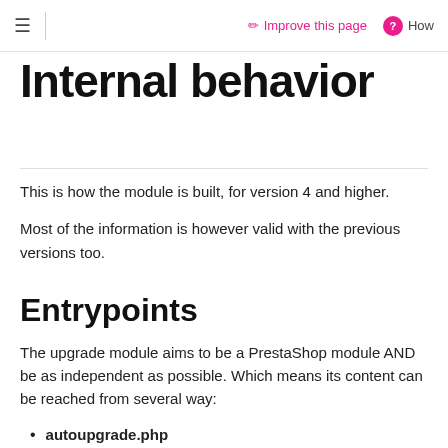☰  Improve this page  ? How
Internal behavior
This is how the module is built, for version 4 and higher.
Most of the information is however valid with the previous versions too.
Entrypoints
The upgrade module aims to be a PrestaShop module AND be as independent as possible. Which means its content can be reached from several way:
autoupgrade.php
Every module has a controller, it will serve as its entrypoint. This fi...